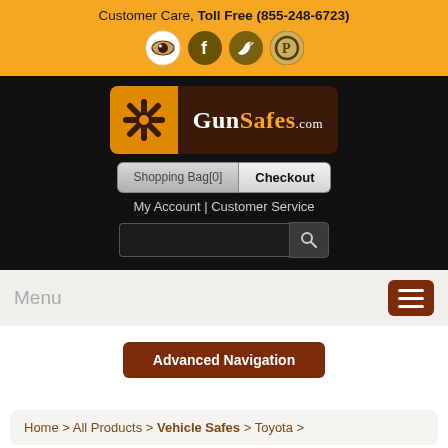Customer Care, Toll Free (855-248-6723)
[Figure (logo): GunSafes.com logo with asterisk icon on orange background and dark brown text panel]
Shopping Bag[0] | Checkout
My Account | Customer Service
Menu
Advanced Navigation
Home > All Products > Vehicle Safes > Toyota >